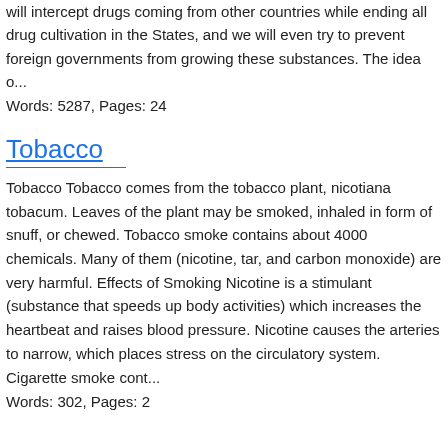will intercept drugs coming from other countries while ending all drug cultivation in the States, and we will even try to prevent foreign governments from growing these substances. The idea o...
Words: 5287, Pages: 24
Tobacco
Tobacco Tobacco comes from the tobacco plant, nicotiana tobacum. Leaves of the plant may be smoked, inhaled in form of snuff, or chewed. Tobacco smoke contains about 4000 chemicals. Many of them (nicotine, tar, and carbon monoxide) are very harmful. Effects of Smoking Nicotine is a stimulant (substance that speeds up body activities) which increases the heartbeat and raises blood pressure. Nicotine causes the arteries to narrow, which places stress on the circulatory system. Cigarette smoke cont...
Words: 302, Pages: 2